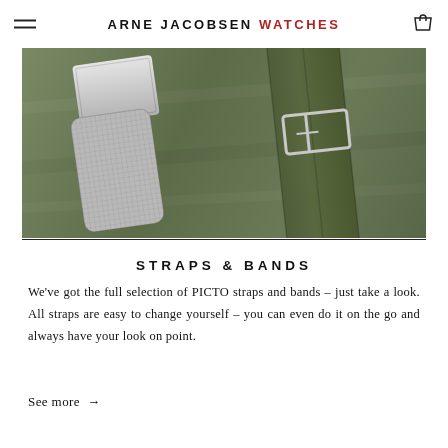ARNE JACOBSEN WATCHES
[Figure (photo): Close-up photo of watch straps on an olive/khaki fabric background. On the left, a silver mesh/metal watch strap with a clasp. On the right, an olive green leather watch strap with a silver rectangular buckle.]
STRAPS & BANDS
We've got the full selection of PICTO straps and bands – just take a look. All straps are easy to change yourself – you can even do it on the go and always have your look on point.
See more →